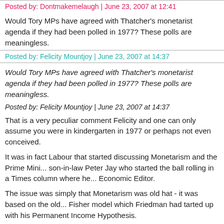Posted by: Dontmakemelaugh | June 23, 2007 at 12:41
Would Tory MPs have agreed with Thatcher's monetarist agenda if they had been polled in 1977? These polls are meaningless.
Posted by: Felicity Mountjoy | June 23, 2007 at 14:37
Would Tory MPs have agreed with Thatcher's monetarist agenda if they had been polled in 1977? These polls are meaningless.
Posted by: Felicity Mountjoy | June 23, 2007 at 14:37
That is a very peculiar comment Felicity and one can only assume you were in kindergarten in 1977 or perhaps not even conceived.
It was in fact Labour that started discussing Monetarism and the Prime Minister's son-in-law Peter Jay who started the ball rolling in a Times column where he was Economic Editor.
The issue was simply that Monetarism was old hat - it was based on the old Irving Fisher model which Friedman had tarted up with his Permanent Income Hypothesis.
There were fanatics like Enoch Powell and John Biffen who certainly knew more about it than Thatcher or Keith Joseph and Tim Congdon and Harry JOhn...